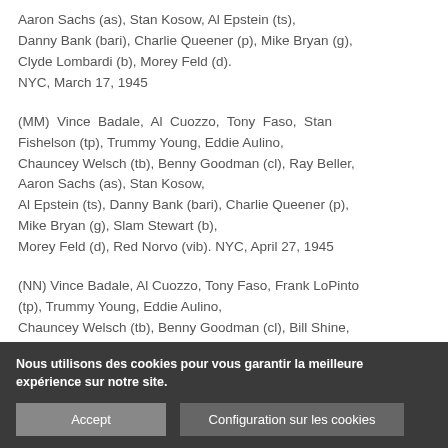Aaron Sachs (as), Stan Kosow, Al Epstein (ts), Danny Bank (bari), Charlie Queener (p), Mike Bryan (g), Clyde Lombardi (b), Morey Feld (d). NYC, March 17, 1945
(MM) Vince Badale, Al Cuozzo, Tony Faso, Stan Fishelson (tp), Trummy Young, Eddie Aulino, Chauncey Welsch (tb), Benny Goodman (cl), Ray Beller, Aaron Sachs (as), Stan Kosow, Al Epstein (ts), Danny Bank (bari), Charlie Queener (p), Mike Bryan (g), Slam Stewart (b), Morey Feld (d), Red Norvo (vib). NYC, April 27, 1945
(NN) Vince Badale, Al Cuozzo, Tony Faso, Frank LoPinto (tp), Trummy Young, Eddie Aulino, Chauncey Welsch (tb), Benny Goodman (cl), Bill Shine, Aaron Sachs (as), Stan Kosow, Ray Beller (ts),
Nous utilisons des cookies pour vous garantir la meilleure expérience sur notre site.
Accept
Configuration sur les cookies